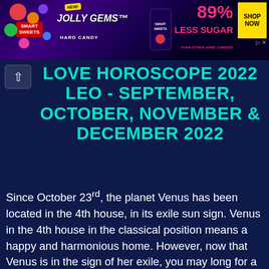[Figure (infographic): Smart Sweets Jolly Gems Hard Candy advertisement banner. Dark purple/black background with colorful candy graphics. Features 'NEW!' badge, 'JOLLY GEMS™ HARD CANDY' text, Smart Sweets logo, '89% LESS SUGAR THAN OTHER HARD CANDIES' claim in pink, and 'SHOP NOW' yellow button. Small navigation arrows (▷ ✕) in top right.]
LOVE HOROSCOPE 2022 LEO - SEPTEMBER, OCTOBER, NOVEMBER & DECEMBER 2022
Since October 23rd, the planet Venus has been located in the 4th house, in its exile sun sign. Venus in the 4th house in the classical position means a happy and harmonious home. However, now that Venus is in the sign of her exile, you may long for a sudden change in your home (a change of furniture, things, the purchase of more luxurious accessories that your partner may not agree